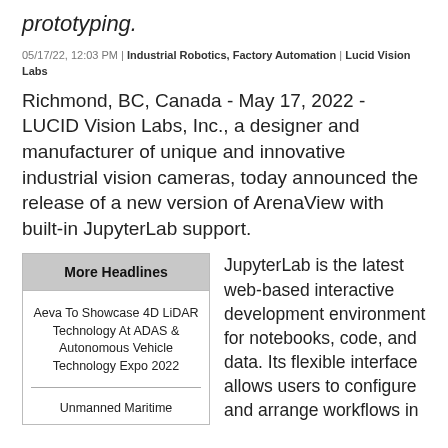prototyping.
05/17/22, 12:03 PM | Industrial Robotics, Factory Automation | Lucid Vision Labs
Richmond, BC, Canada - May 17, 2022 - LUCID Vision Labs, Inc., a designer and manufacturer of unique and innovative industrial vision cameras, today announced the release of a new version of ArenaView with built-in JupyterLab support.
More Headlines
Aeva To Showcase 4D LiDAR Technology At ADAS & Autonomous Vehicle Technology Expo 2022
Unmanned Maritime
JupyterLab is the latest web-based interactive development environment for notebooks, code, and data. Its flexible interface allows users to configure and arrange workflows in